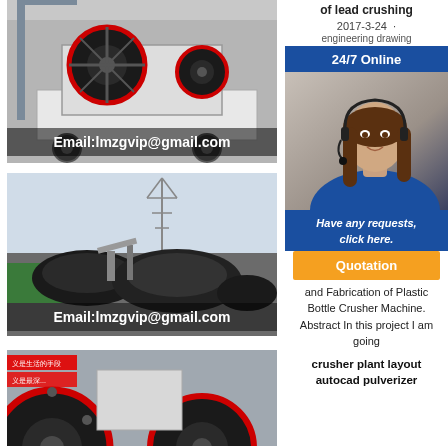[Figure (photo): Industrial jaw crusher machine on a flatbed truck at a facility, with large red flywheel visible. Email:lmzgvip@gmail.com overlaid at bottom.]
[Figure (photo): Outdoor mining/crushing site with piles of crushed black rock and conveyor/processing equipment. Email:lmzgvip@gmail.com overlaid at bottom.]
[Figure (photo): Jaw crusher machine close-up with red flywheel, at an industrial facility with banners in Chinese.]
of lead crushing
2017-3-24 ·
engineering drawing
[Figure (photo): Customer service agent - woman wearing headset smiling, 24/7 Online banner at top]
Have any requests, click here.
Quotation
and Fabrication of Plastic Bottle Crusher Machine. Abstract In this project I am going
crusher plant layout autocad pulverizer